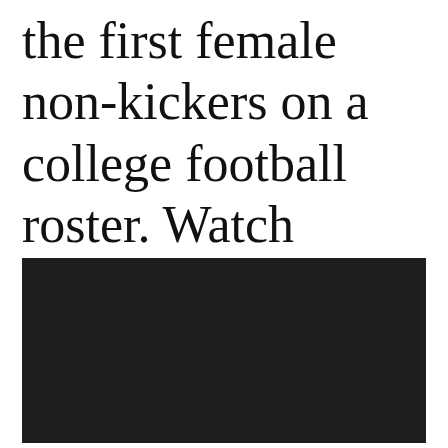the first female non-kickers on a college football roster. Watch below:
[Figure (screenshot): Dark/black video embed placeholder]